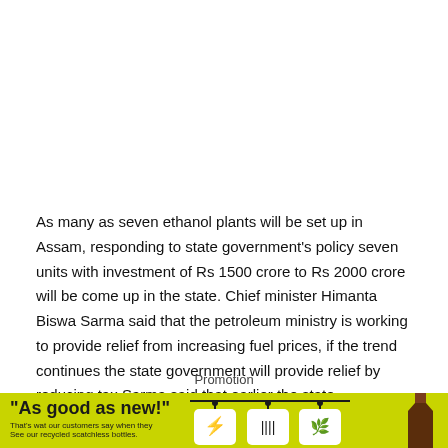As many as seven ethanol plants will be set up in Assam, responding to state government's policy seven units with investment of Rs 1500 crore to Rs 2000 crore will be come up in the state. Chief minister Himanta Biswa Sarma said that the petroleum ministry is working to provide relief from increasing fuel prices, if the trend continues the state government will provide relief by reducing tax.Sarma said that earlier the state government has reduced taxes on petrol and diesel by Rs 5 per litre.
Promotion
[Figure (infographic): Advertisement banner with yellow-green background. Left side shows bold text 'As good as new!' with subtext 'That's wat our customers say when they See our recycled scatchless bottles.' Right side shows three icon cards hanging from a horizontal bar, and a dark bottle on the far right.]